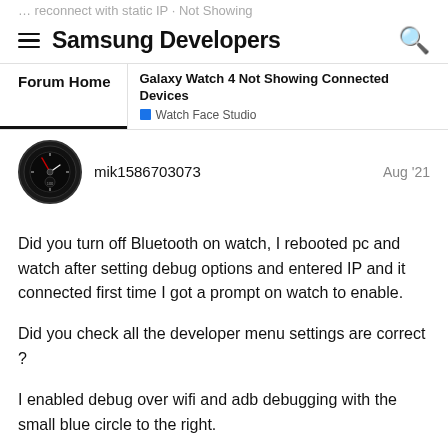reconnect with static IP · Not Showing
Samsung Developers
Forum Home | Galaxy Watch 4 Not Showing Connected Devices | Watch Face Studio
mik1586703073
Aug '21
Did you turn off Bluetooth on watch, I rebooted pc and watch after setting debug options and entered IP and it connected first time I got a prompt on watch to enable.

Did you check all the developer menu settings are correct ?

I enabled debug over wifi and adb debugging with the small blue circle to the right.

Now it connects without me doing anything after build and Run on Device
[Figure (screenshot): Screenshot showing 'Connected Devices' panel in a dark gray UI]